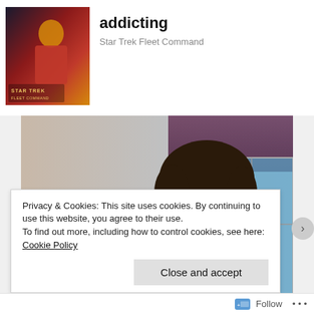addicting
Star Trek Fleet Command
[Figure (photo): Nurse in blue scrubs with stethoscope smiling at elderly patient in a care setting]
Privacy & Cookies: This site uses cookies. By continuing to use this website, you agree to their use.
To find out more, including how to control cookies, see here: Cookie Policy
Close and accept
Follow